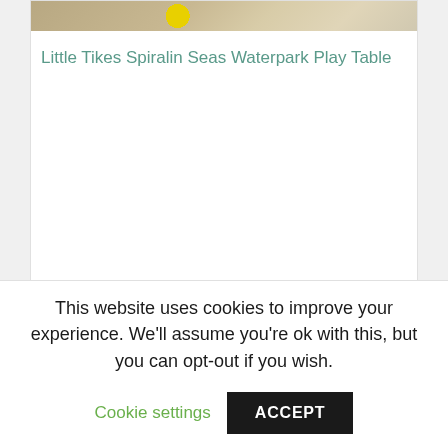[Figure (photo): Product photo of Little Tikes Spiralin Seas Waterpark Play Table, showing sandy/beige background with a yellow element visible]
Little Tikes Spiralin Seas Waterpark Play Table
This website uses cookies to improve your experience. We'll assume you're ok with this, but you can opt-out if you wish.
Cookie settings
ACCEPT